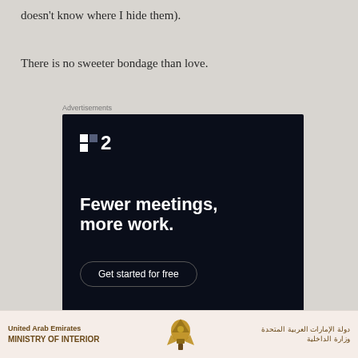doesn't know where I hide them).
There is no sweeter bondage than love.
Advertisements
[Figure (other): Advertisement for a project management tool showing logo with square icon and '2', headline 'Fewer meetings, more work.' and a 'Get started for free' button on dark navy background.]
[Figure (other): Bottom banner for United Arab Emirates Ministry of Interior with Arabic text and eagle emblem logo.]